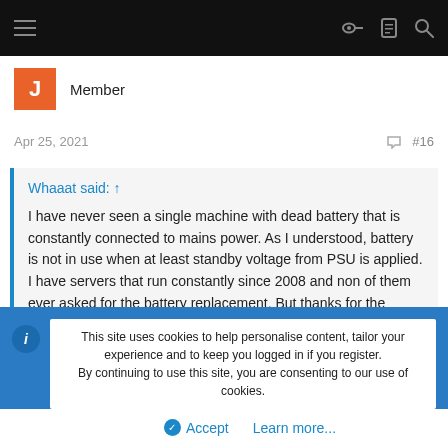Navigation bar with menu, key, list, and search icons
J  Member
Apr 25, 2021  #16
Whaaat said: ↑

I have never seen a single machine with dead battery that is constantly connected to mains power. As I understood, battery is not in use when at least standby voltage from PSU is applied. I have servers that run constantly since 2008 and non of them ever asked for the battery replacement. But thanks for the reminder, I'll replace them as a preventive measure.
This site uses cookies to help personalise content, tailor your experience and to keep you logged in if you register.
By continuing to use this site, you are consenting to our use of cookies.

Accept   Learn more...